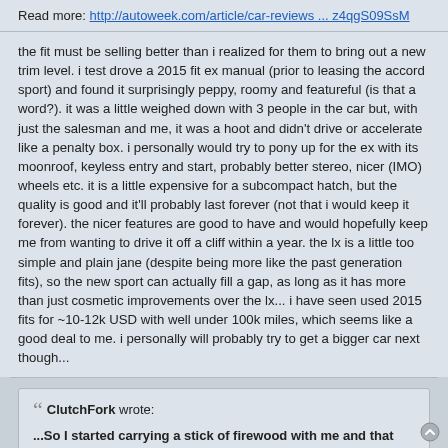Read more: http://autoweek.com/article/car-reviews ... z4qgS09SsM
the fit must be selling better than i realized for them to bring out a new trim level. i test drove a 2015 fit ex manual (prior to leasing the accord sport) and found it surprisingly peppy, roomy and featureful (is that a word?). it was a little weighed down with 3 people in the car but, with just the salesman and me, it was a hoot and didn't drive or accelerate like a penalty box. i personally would try to pony up for the ex with its moonroof, keyless entry and start, probably better stereo, nicer (IMO) wheels etc. it is a little expensive for a subcompact hatch, but the quality is good and it'll probably last forever (not that i would keep it forever). the nicer features are good to have and would hopefully keep me from wanting to drive it off a cliff within a year. the lx is a little too simple and plain jane (despite being more like the past generation fits), so the new sport can actually fill a gap, as long as it has more than just cosmetic improvements over the lx... i have seen used 2015 fits for ~10-12k USD with well under 100k miles, which seems like a good deal to me. i personally will probably try to get a bigger car next though...
ClutchFork wrote:
...So I started carrying a stick of firewood with me and that became my parking brake.